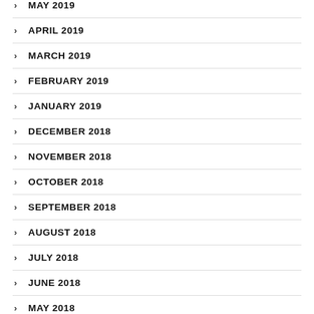MAY 2019
APRIL 2019
MARCH 2019
FEBRUARY 2019
JANUARY 2019
DECEMBER 2018
NOVEMBER 2018
OCTOBER 2018
SEPTEMBER 2018
AUGUST 2018
JULY 2018
JUNE 2018
MAY 2018
APRIL 2018